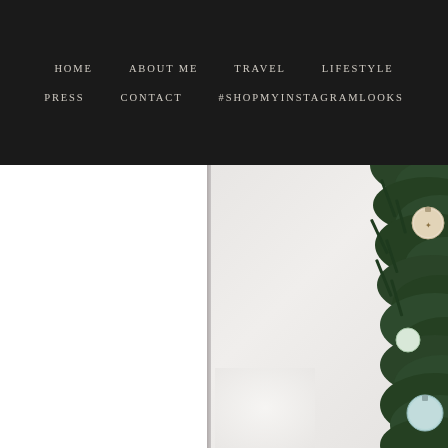HOME  ABOUT ME  TRAVEL  LIFESTYLE  PRESS  CONTACT  #SHOPMYINSTAGRAMLOOKS
[Figure (photo): Christmas tree with ornaments on the right side, blurred background with a white wall and window on the left side. Photo is partially cropped showing pine branches with decorative ornaments including circular baubles.]